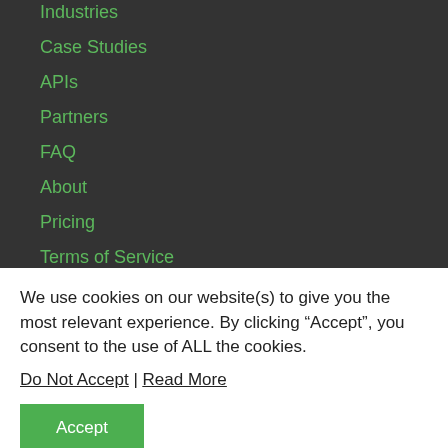Industries
Case Studies
APIs
Partners
FAQ
About
Pricing
Terms of Service
Privacy Policy
GDPR & CCPA
We use cookies on our website(s) to give you the most relevant experience. By clicking “Accept”, you consent to the use of ALL the cookies.
Do Not Accept | Read More
Accept